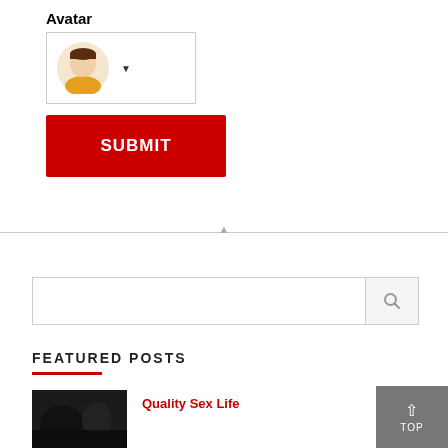Avatar
[Figure (screenshot): Avatar dropdown selector showing a cartoon male avatar icon with a dropdown arrow]
[Figure (screenshot): Red SUBMIT button]
[Figure (screenshot): Search input box with magnifying glass icon on the right]
FEATURED POSTS
[Figure (photo): Dark thumbnail image]
Quality Sex Life